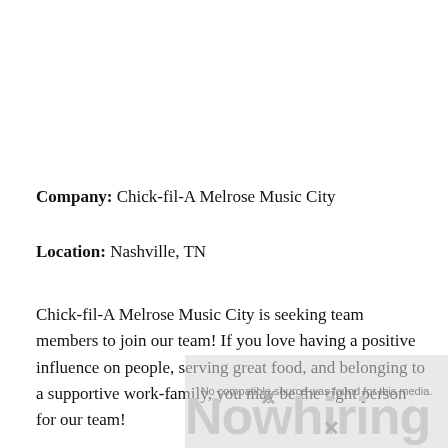Company: Chick-fil-A Melrose Music City
Location: Nashville, TN
Chick-fil-A Melrose Music City is seeking team members to join our team! If you love having a positive influence on people, serving great food, and belonging to a supportive work-family, you may be the right person for our team!
[Figure (other): Video player overlay showing 'No compatible source was found for this media.' message with a NowHiring watermark graphic in gray]